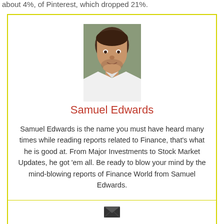about 4%, of Pinterest, which dropped 21%.
[Figure (photo): Headshot photo of Samuel Edwards, a man in a white shirt]
Samuel Edwards
Samuel Edwards is the name you must have heard many times while reading reports related to Finance, that’s what he is good at. From Major Investments to Stock Market Updates, he got ‘em all. Be ready to blow your mind by the mind-blowing reports of Finance World from Samuel Edwards.
[Figure (illustration): Envelope/email icon]